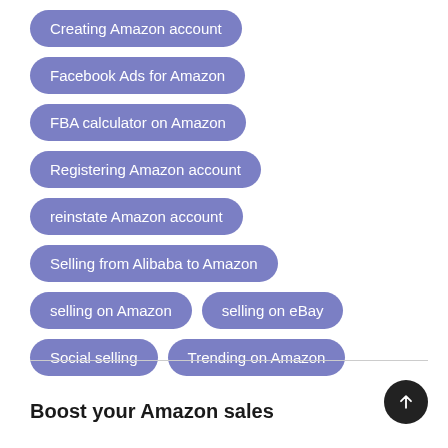Creating Amazon account
Facebook Ads for Amazon
FBA calculator on Amazon
Registering Amazon account
reinstate Amazon account
Selling from Alibaba to Amazon
selling on Amazon
selling on eBay
Social selling
Trending on Amazon
Boost your Amazon sales